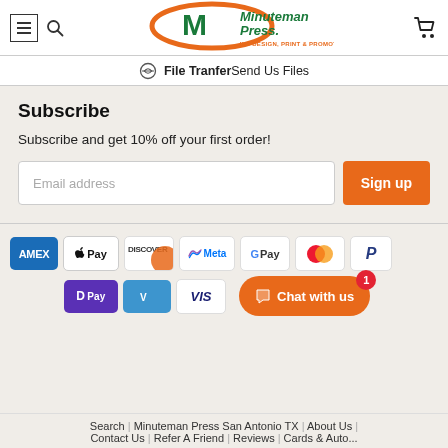[Figure (logo): Minuteman Press logo with orange oval, green M, tagline WE DESIGN, PRINT & PROMOTE...YOU!]
File Transfer Send Us Files
Subscribe
Subscribe and get 10% off your first order!
[Figure (other): Email subscription form with email address input and Sign up button]
[Figure (other): Payment icons: AMEX, Apple Pay, Discover, Meta Pay, Google Pay, Mastercard, PayPal, Samsung Pay (D Pay), Venmo, Visa]
[Figure (other): Chat with us button with badge showing 1]
Search | Minuteman Press San Antonio TX | About Us | Contact Us | Refer A Friend | Review | Cards & Auto...